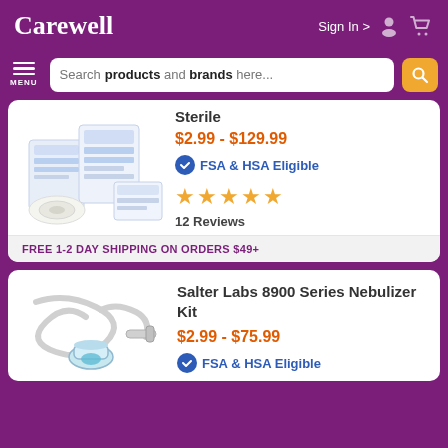Carewell
Sign In >
Search products and brands here...
MENU
Sterile
$2.99 - $129.99
FSA & HSA Eligible
12 Reviews
FREE 1-2 DAY SHIPPING ON ORDERS $49+
Salter Labs 8900 Series Nebulizer Kit
$2.99 - $75.99
FSA & HSA Eligible